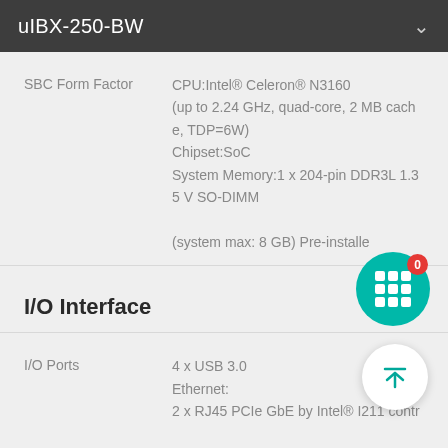uIBX-250-BW
SBC Form Factor — CPU:Intel® Celeron® N3160 (up to 2.24 GHz, quad-core, 2 MB cache, TDP=6W) Chipset:SoC System Memory:1 x 204-pin DDR3L 1.35 V SO-DIMM (system max: 8 GB) Pre-installed
I/O Interface
I/O Ports — 4 x USB 3.0 Ethernet: 2 x RJ45 PCIe GbE by Intel® I211 contr